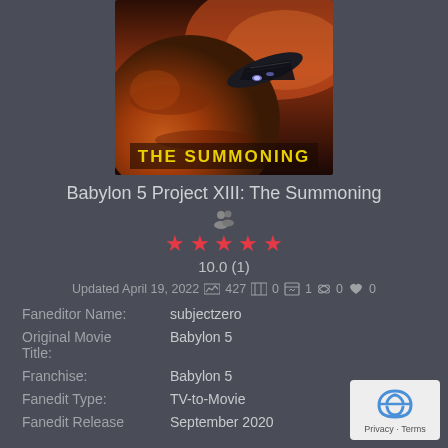[Figure (photo): Movie poster showing a spacecraft flying near a large planet with orange/red atmosphere, with text 'THE SUMMONING' in yellow at the bottom]
Babylon 5 Project XIII: The Summoning
10.0 (1) — 5 star rating
Updated April 19, 2022 · 427 views · 0 · 1 · 0 · 0
Faneditor Name: subjectzero
Original Movie Title: Babylon 5
Franchise: Babylon 5
Fanedit Type: TV-to-Movie
Fanedit Release: September 2020